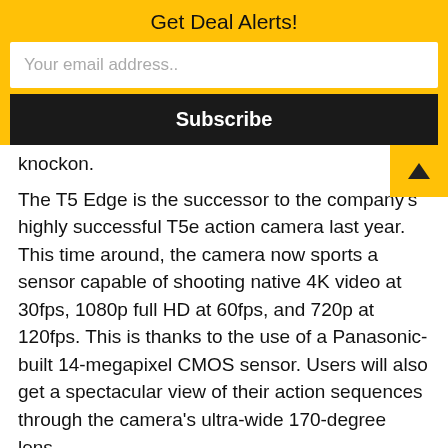Get Deal Alerts!
Your email address..
Subscribe
knockon.
The T5 Edge is the successor to the company's highly successful T5e action camera last year. This time around, the camera now sports a sensor capable of shooting native 4K video at 30fps, 1080p full HD at 60fps, and 720p at 120fps. This is thanks to the use of a Panasonic-built 14-megapixel CMOS sensor. Users will also get a spectacular view of their action sequences through the camera's ultra-wide 170-degree lens.
This website uses cookies to improve your experience. We'll assume you're ok with this, but you can opt-out if you wish.
Accept
Read More